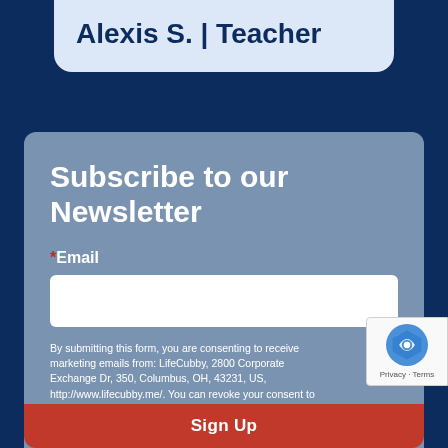Alexis S. | Teacher
Subscribe to our Newsletter
*Email
By submitting this form, you are consenting to receive marketing emails from: LifeCubby, 2800 Corporate Exchange Dr, 350, Columbus, OH, 43231, US, http://www.lifecubby.me/. You can revoke your consent to receive emails at any time by using the SafeUnsubscribe® link, found at the bottom of every email. Emails are serviced by Constant Contact.
Sign Up